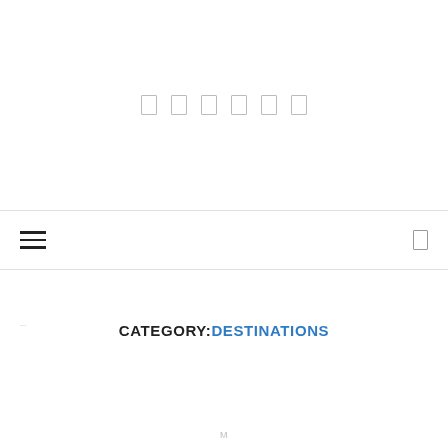[Figure (other): Row of 6 small rectangular social media icon placeholders in light gray outline style]
Navigation bar with hamburger menu icon on the left and a small rectangular icon on the right
CATEGORY: DESTINATIONS
...
M